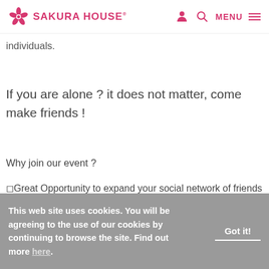SAKURA HOUSE®
individuals.
If you are alone ? it does not matter, come make friends !
Why join our event ?
⬜Great Opportunity to expand your social network of friends around town
This web site uses cookies. You will be agreeing to the use of our cookies by continuing to browse the site. Find out more here.